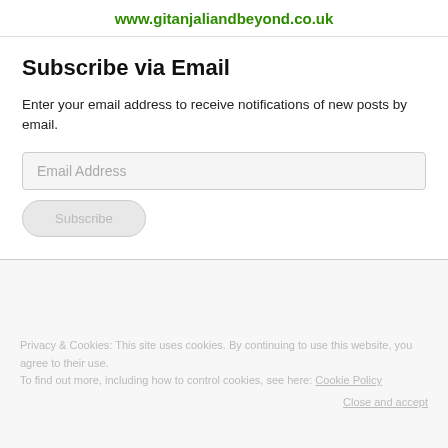www.gitanjaliandbeyond.co.uk
Subscribe via Email
Enter your email address to receive notifications of new posts by email.
Privacy & Cookies: This site uses cookies. By continuing to use this website, you agree to their use.
To find out more, including how to control cookies, see here: Cookie Policy
Close and accept